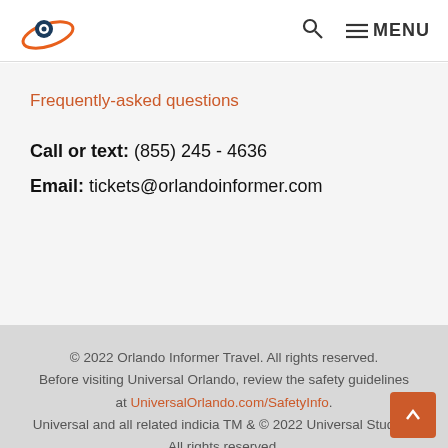Orlando Informer logo | Search | MENU
Frequently-asked questions
Call or text: (855) 245 - 4636
Email: tickets@orlandoinformer.com
© 2022 Orlando Informer Travel. All rights reserved. Before visiting Universal Orlando, review the safety guidelines at UniversalOrlando.com/SafetyInfo. Universal and all related indicia TM & © 2022 Universal Studios. All rights reserved. © 2022 SeaWorld Parks & Entertainment, Inc. All rights reserved.